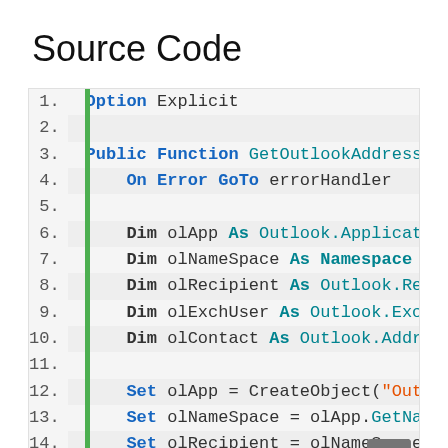Source Code
1. Option Explicit
2.
3. Public Function GetOutlookAddressBo
4.     On Error GoTo errorHandler
5.
6.     Dim olApp As Outlook.Application
7.     Dim olNameSpace As Namespace
8.     Dim olRecipient As Outlook.Recipi
9.     Dim olExchUser As Outlook.Exchang
10.    Dim olContact As Outlook.AddressE
11.
12.    Set olApp = CreateObject("Outlook
13.    Set olNameSpace = olApp.GetNamesp
14.    Set olRecipient = olNameSpace.Cre
15.
16.    olRecipient.Resolve
17.